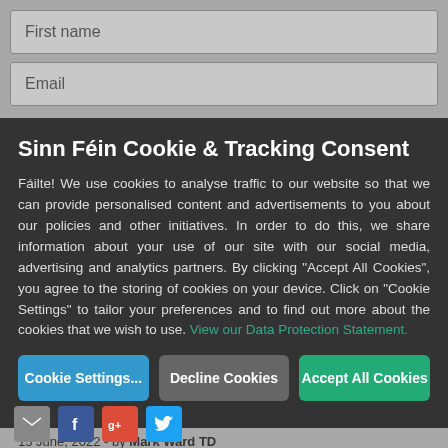First name
Email
Sinn Féin Cookie & Tracking Consent
Fáilte! We use cookies to analyse traffic to our website so that we can provide personalised content and advertisements to you about our policies and other initiatives. In order to do this, we share information about your use of our site with our social media, advertising and analytics partners. By clicking "Accept All Cookies", you agree to the storing of cookies on your device. Click on "Cookie Settings" to tailor your preferences and to find out more about the cookies that we wish to use. View our Data Protection Statement.
Cookie Settings...
Decline Cookies
Accept All Cookies
15 June, 2022 - by Mark Ward TD